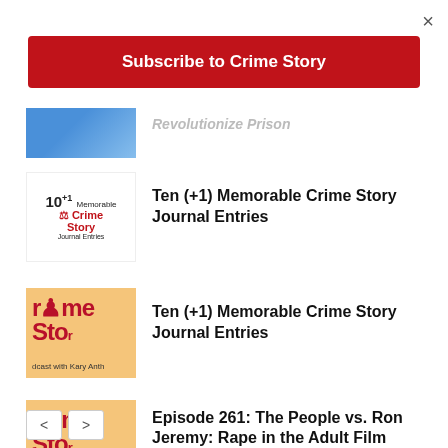×
Subscribe to Crime Story
[Figure (screenshot): Partially visible thumbnail image with blue background, partially cropped title text 'Revolutionize Prison']
[Figure (illustration): Crime Story Journal Entries logo thumbnail: '10+1 Memorable Crime Story Journal Entries' with red scales of justice icon]
Ten (+1) Memorable Crime Story Journal Entries
[Figure (screenshot): Crime Story podcast thumbnail: orange background with 'rime Sto' and 'dcast with Kary Anth' text visible]
Ten (+1) Memorable Crime Story Journal Entries
[Figure (screenshot): Crime Story podcast thumbnail: orange background with 'rime Sto' and 'dcast with Kary Anth' text visible]
Episode 261: The People vs. Ron Jeremy: Rape in the Adult Film Industry
< >